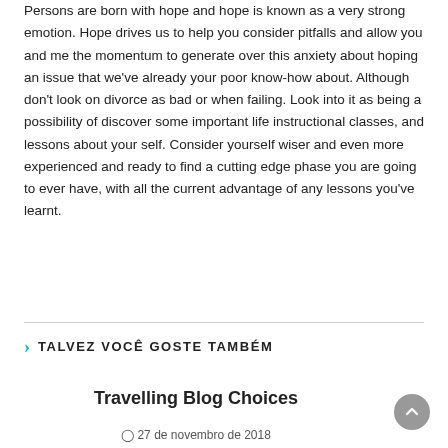Persons are born with hope and hope is known as a very strong emotion. Hope drives us to help you consider pitfalls and allow you and me the momentum to generate over this anxiety about hoping an issue that we've already your poor know-how about. Although don't look on divorce as bad or when failing. Look into it as being a possibility of discover some important life instructional classes, and lessons about your self. Consider yourself wiser and even more experienced and ready to find a cutting edge phase you are going to ever have, with all the current advantage of any lessons you've learnt.
TALVEZ VOCÊ GOSTE TAMBÉM
Travelling Blog Choices
27 de novembro de 2018